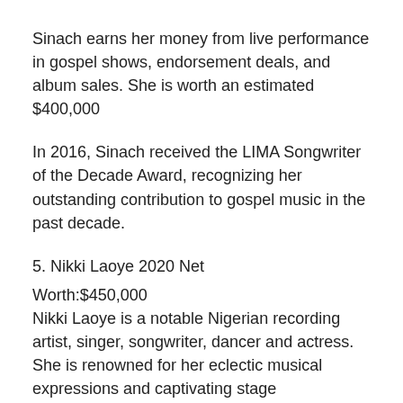Sinach earns her money from live performance in gospel shows, endorsement deals, and album sales. She is worth an estimated $400,000
In 2016, Sinach received the LIMA Songwriter of the Decade Award, recognizing her outstanding contribution to gospel music in the past decade.
5. Nikki Laoye 2020 Net
Worth:$450,000
Nikki Laoye is a notable Nigerian recording artist, singer, songwriter, dancer and actress. She is renowned for her eclectic musical expressions and captivating stage performances. Also, Nikki Laoye is also one of the richest gospel musicians in Nigeria.
As a recording artist, Laoye's music has earned her several awards including The Headies Award in 2013 for Best Female Vocal Performance and the All African Music Awards (AFRIMA) in 2014 for Best Female Artiste in African